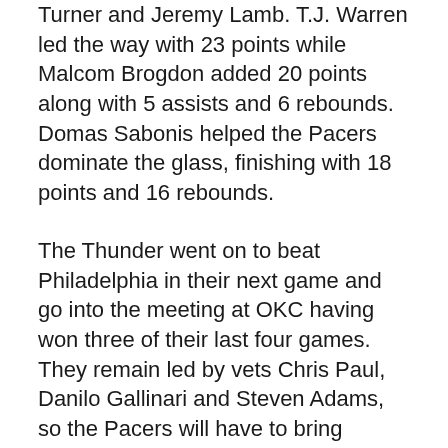Turner and Jeremy Lamb. T.J. Warren led the way with 23 points while Malcom Brogdon added 20 points along with 5 assists and 6 rebounds. Domas Sabonis helped the Pacers dominate the glass, finishing with 18 points and 16 rebounds.
The Thunder went on to beat Philadelphia in their next game and go into the meeting at OKC having won three of their last four games. They remain led by vets Chris Paul, Danilo Gallinari and Steven Adams, so the Pacers will have to bring another high level of effort to earn the road win in OKC.
Where: Chesapeake Energy Arena, Oklahoma City, OK
When: 8:00 p.m. ET